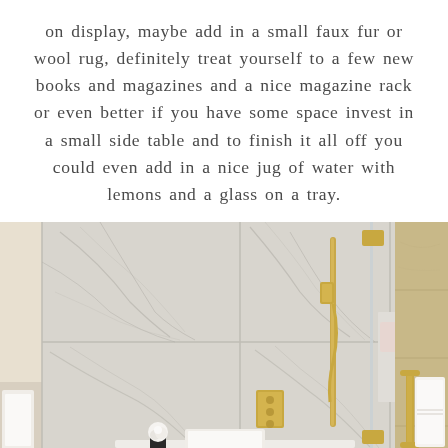on display, maybe add in a small faux fur or wool rug, definitely treat yourself to a few new books and magazines and a nice magazine rack or even better if you have some space invest in a small side table and to finish it all off you could even add in a nice jug of water with lemons and a glass on a tray.
[Figure (photo): Luxury hotel-style bathroom with large marble-tiled walls, a deep soaking bathtub set into a dark wood surround, gold/brass fixtures including a handheld shower, glass shower screen, white fluffy towels, a small white flower arrangement, and a gold towel rail on the right wall with beige stone tile.]